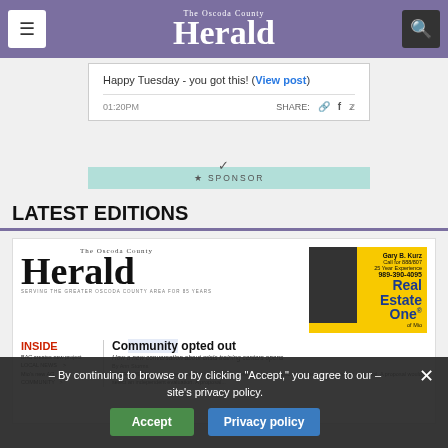The Oscoda County Herald
Happy Tuesday - you got this! (View post)
01:20PM  SHARE:
[Figure (other): Sponsor button with star and chevron]
LATEST EDITIONS
[Figure (screenshot): The Oscoda County Herald newspaper front page preview with Real Estate One advertisement]
By continuing to browse or by clicking "Accept," you agree to our site's privacy policy.
Accept   Privacy policy